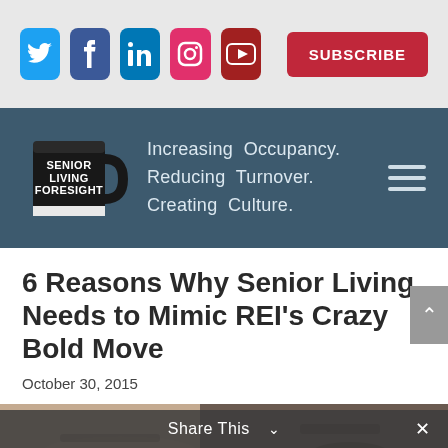[Figure (screenshot): Social media icons bar: Twitter (blue), Facebook (dark blue), LinkedIn (blue), Instagram (pink), YouTube (dark red), and a red SUBSCRIBE button]
[Figure (logo): Senior Living Foresight logo: black coffee mug with text 'SENIOR LIVING FORESIGHT' on dark teal banner, with tagline 'Increasing Occupancy. Reducing Turnover. Creating Culture.' and hamburger menu icon]
6 Reasons Why Senior Living Needs to Mimic REI’s Crazy Bold Move
October 30, 2015
[Figure (photo): Partial photo of woodworking tools and hands]